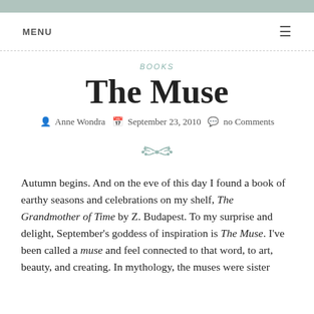MENU ☰
BOOKS
The Muse
Anne Wondra  September 23, 2010  no Comments
[Figure (illustration): Decorative floral/leaf divider ornament in muted teal/sage color]
Autumn begins. And on the eve of this day I found a book of earthy seasons and celebrations on my shelf, The Grandmother of Time by Z. Budapest. To my surprise and delight, September's goddess of inspiration is The Muse. I've been called a muse and feel connected to that word, to art, beauty, and creating. In mythology, the muses were sister